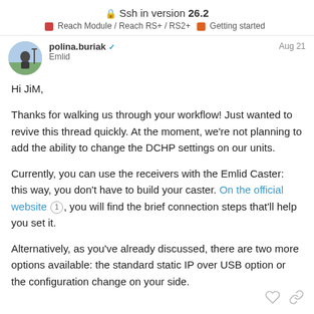Ssh in version **26.2**
Reach Module / Reach RS+ / RS2+ | Getting started
polina.buriak  Emlid  Aug 21
Hi JiM,
Thanks for walking us through your workflow! Just wanted to revive this thread quickly. At the moment, we’re not planning to add the ability to change the DCHP settings on our units.
Currently, you can use the receivers with the Emlid Caster: this way, you don’t have to build your caster. On the official website 1, you will find the brief connection steps that’ll help you set it.
Alternatively, as you’ve already discussed, there are two more options available: the standard static IP over USB option or the configuration change on your side.